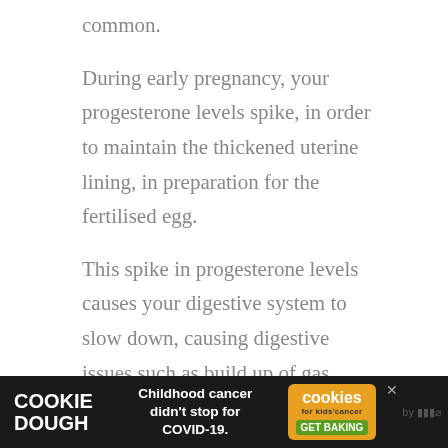common.
During early pregnancy, your progesterone levels spike, in order to maintain the thickened uterine lining, in preparation for the fertilised egg.
This spike in progesterone levels causes your digestive system to slow down, causing digestive issues such as build up of gas, bloating and even constipation.
Mild Cramps
[Figure (other): Advertisement bar: Cookie Dough brand ad - Childhood cancer didn't stop for COVID-19. Cookies for kids' cancer GET BAKING.]